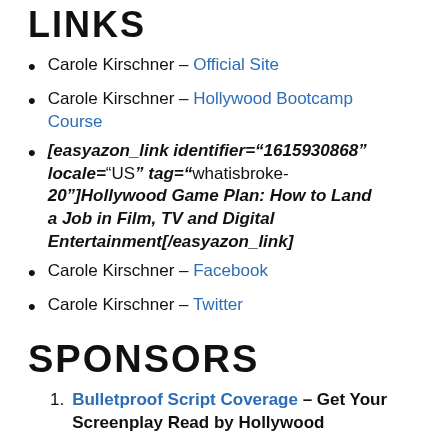LINKS
Carole Kirschner – Official Site
Carole Kirschner – Hollywood Bootcamp Course
[easyazon_link identifier="1615930868" locale="US" tag="whatisbroke-20"]Hollywood Game Plan: How to Land a Job in Film, TV and Digital Entertainment[/easyazon_link]
Carole Kirschner – Facebook
Carole Kirschner – Twitter
SPONSORS
Bulletproof Script Coverage – Get Your Screenplay Read by Hollywood